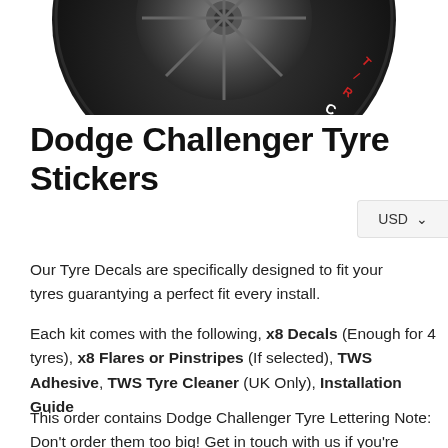[Figure (photo): Partial view of a car tire with white lettering stickers reading 'CHALLENGER R/T' on the tyre sidewall, showing the bottom portion of the tire against a white background.]
Dodge Challenger Tyre Stickers
USD ▾
Our Tyre Decals are specifically designed to fit your tyres guarantying a perfect fit every install.
Each kit comes with the following, x8 Decals (Enough for 4 tyres), x8 Flares or Pinstripes (If selected), TWS Adhesive, TWS Tyre Cleaner (UK Only), Installation Guide
This order contains Dodge Challenger Tyre Lettering Note: Don't order them too big! Get in touch with us if you're